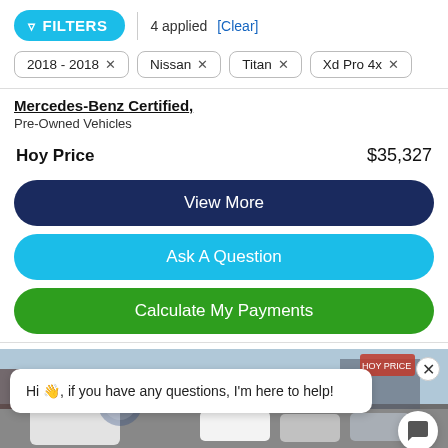FILTERS | 4 applied [Clear]
2018 - 2018 ×
Nissan ×
Titan ×
Xd Pro 4x ×
Mercedes-Benz Certified
Pre-Owned Vehicles
Hoy Price $35,327
View More
Ask A Question
Calculate My Payments
[Figure (screenshot): Car dealership lot photo background with chat bubble overlay saying: Hi 👋, if you have any questions, I'm here to help!]